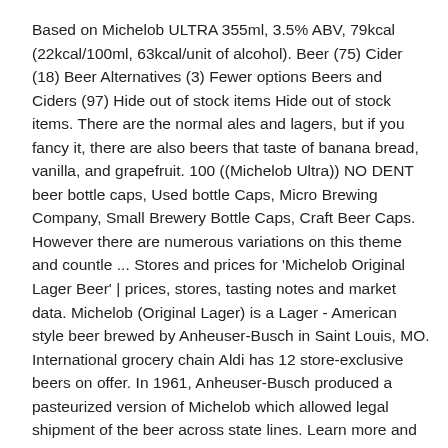Based on Michelob ULTRA 355ml, 3.5% ABV, 79kcal (22kcal/100ml, 63kcal/unit of alcohol). Beer (75) Cider (18) Beer Alternatives (3) Fewer options Beers and Ciders (97) Hide out of stock items Hide out of stock items. There are the normal ales and lagers, but if you fancy it, there are also beers that taste of banana bread, vanilla, and grapefruit. 100 ((Michelob Ultra)) NO DENT beer bottle caps, Used bottle Caps, Micro Brewing Company, Small Brewery Bottle Caps, Craft Beer Caps. However there are numerous variations on this theme and countle ... Stores and prices for 'Michelob Original Lager Beer' | prices, stores, tasting notes and market data. Michelob (Original Lager) is a Lager - American style beer brewed by Anheuser-Busch in Saint Louis, MO. International grocery chain Aldi has 12 store-exclusive beers on offer. In 1961, Anheuser-Busch produced a pasteurized version of Michelob which allowed legal shipment of the beer across state lines. Learn more and start shopping today! The Original Small Beer Session Pale No product with id